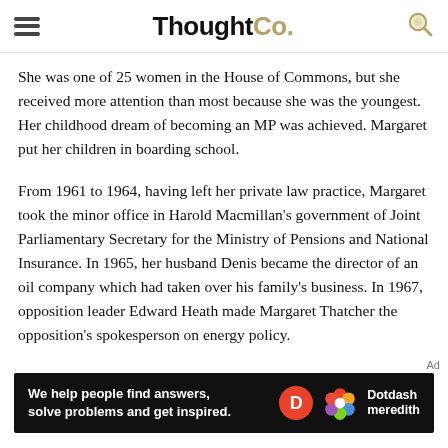ThoughtCo.
She was one of 25 women in the House of Commons, but she received more attention than most because she was the youngest. Her childhood dream of becoming an MP was achieved. Margaret put her children in boarding school.
From 1961 to 1964, having left her private law practice, Margaret took the minor office in Harold Macmillan's government of Joint Parliamentary Secretary for the Ministry of Pensions and National Insurance. In 1965, her husband Denis became the director of an oil company which had taken over his family's business. In 1967, opposition leader Edward Heath made Margaret Thatcher the opposition's spokesperson on energy policy.
Ad
[Figure (other): Advertisement banner: 'We help people find answers, solve problems and get inspired.' with Dotdash Meredith logo]